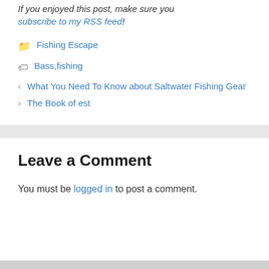If you enjoyed this post, make sure you subscribe to my RSS feed!
Fishing Escape
Bass, fishing
What You Need To Know about Saltwater Fishing Gear
The Book of est
Leave a Comment
You must be logged in to post a comment.